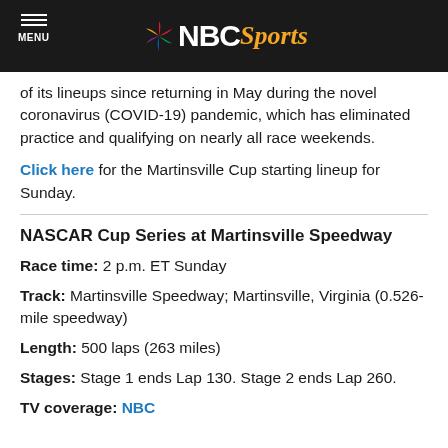NBC Sports
of its lineups since returning in May during the novel coronavirus (COVID-19) pandemic, which has eliminated practice and qualifying on nearly all race weekends.
Click here for the Martinsville Cup starting lineup for Sunday.
NASCAR Cup Series at Martinsville Speedway
Race time: 2 p.m. ET Sunday
Track: Martinsville Speedway; Martinsville, Virginia (0.526-mile speedway)
Length: 500 laps (263 miles)
Stages: Stage 1 ends Lap 130. Stage 2 ends Lap 260.
TV coverage: NBC